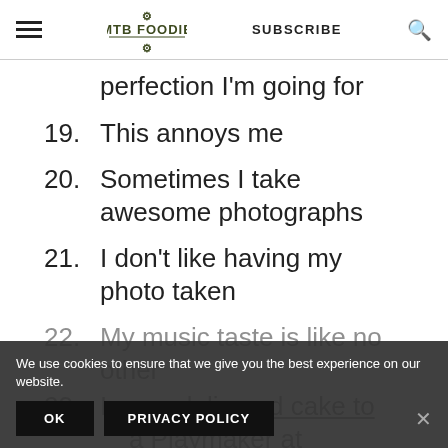MTB FOODIE | SUBSCRIBE
perfection I'm going for
19. This annoys me
20. Sometimes I take awesome photographs
21. I don't like having my photo taken
22. My music taste is like no other
23. I once delivered cake to a Playmaker at MotoGP
We use cookies to ensure that we give you the best experience on our website. OK PRIVACY POLICY